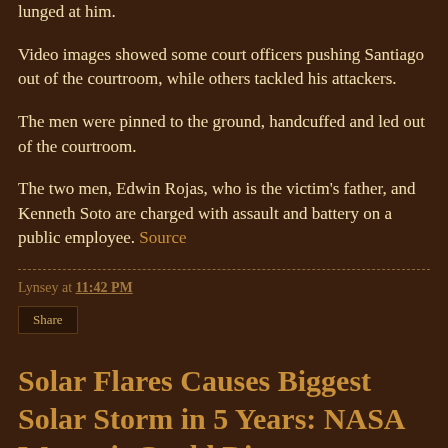lunged at him.
Video images showed some court officers pushing Santiago out of the courtroom, while others tackled his attackers.
The men were pinned to the ground, handcuffed and led out of the courtroom.
The two men, Edwin Rojas, who is the victim's father, and Kenneth Soto are charged with assault and battery on a public employee. Source
Lynsey at 11:42 PM
Share
Solar Flares Causes Biggest Solar Storm in 5 Years: NASA Warns it Could Disrupt power grids, GPS systems, satellites and airline flights.